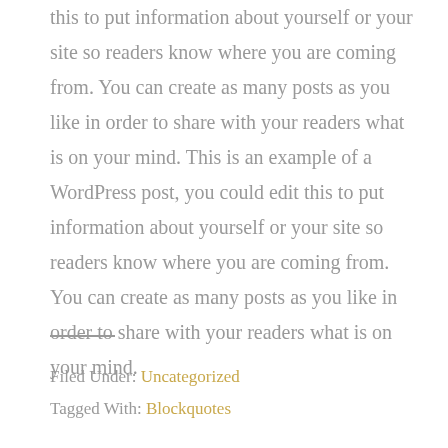this to put information about yourself or your site so readers know where you are coming from. You can create as many posts as you like in order to share with your readers what is on your mind. This is an example of a WordPress post, you could edit this to put information about yourself or your site so readers know where you are coming from. You can create as many posts as you like in order to share with your readers what is on your mind.
Filed Under: Uncategorized
Tagged With: Blockquotes